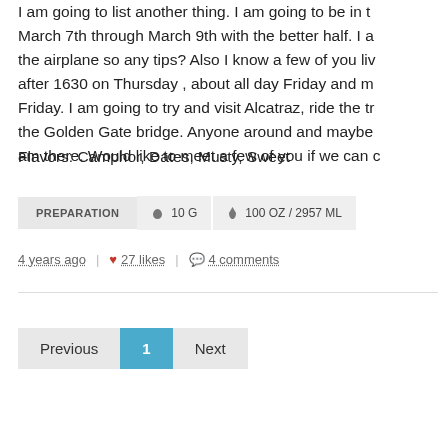I am going to list another thing. I am going to be in March 7th through March 9th with the better half. I am on the airplane so any tips? Also I know a few of you live after 1630 on Thursday , about all day Friday and most of Friday. I am going to try and visit Alcatraz, ride the tr the Golden Gate bridge. Anyone around and maybe am there. Would like to meet a few of you if we can
Flavors: Camphor, Dates, Musty, Sweet
PREPARATION  🍵 10 G  💧 100 OZ / 2957 ML
4 years ago  |  ❤ 27 likes  |  💬 4 comments
Previous  1  Next